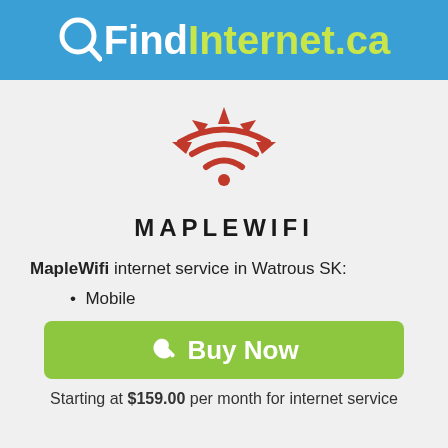QFindInternet.ca
[Figure (logo): MapleWifi logo: red maple leaf shape with wifi signal arcs inside, above the text MAPLEWIFI in bold spaced capitals]
MapleWifi internet service in Watrous SK:
Mobile
Buy Now
Starting at $159.00 per month for internet service